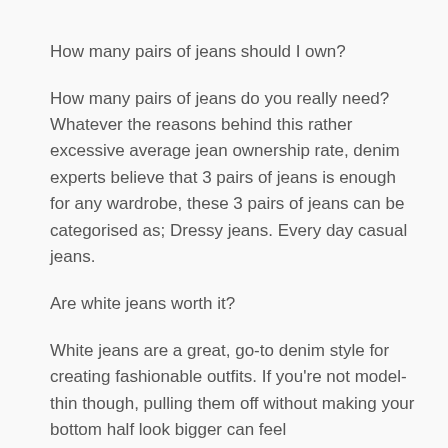How many pairs of jeans should I own?
How many pairs of jeans do you really need? Whatever the reasons behind this rather excessive average jean ownership rate, denim experts believe that 3 pairs of jeans is enough for any wardrobe, these 3 pairs of jeans can be categorised as; Dressy jeans. Every day casual jeans.
Are white jeans worth it?
White jeans are a great, go-to denim style for creating fashionable outfits. If you're not model-thin though, pulling them off without making your bottom half look bigger can feel